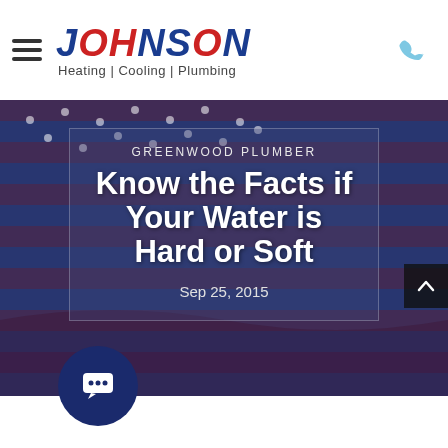JOHNSON Heating | Cooling | Plumbing
[Figure (screenshot): Hero background image of an American flag, tinted blue and red with overlay]
GREENWOOD PLUMBER
Know the Facts if Your Water is Hard or Soft
Sep 25, 2015